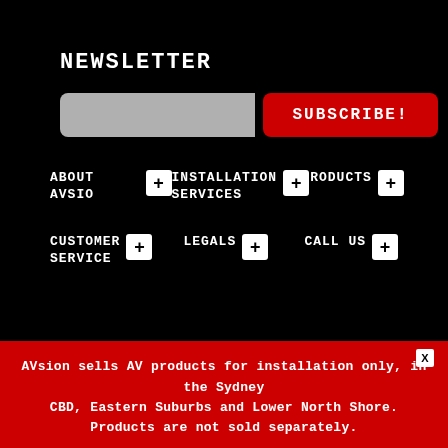NEWSLETTER
SUBSCRIBE!
ABOUT AVSIO +
INSTALLATION SERVICES +
PRODUCTS +
CUSTOMER SERVICE +
LEGALS +
CALL US +
AVsion sells AV products for installation only, in the Sydney CBD, Eastern Suburbs and Lower North Shore. Products are not sold separately.